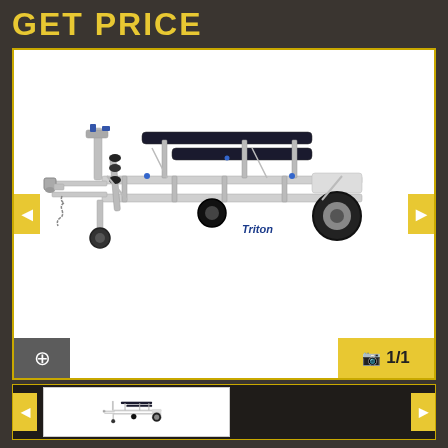GET PRICE
[Figure (photo): Aluminum Triton boat trailer with roller supports, ball hitch, jack stand, and single axle with large tires. Main product image on white background.]
[Figure (photo): Thumbnail image of the same Triton aluminum boat trailer, smaller version for gallery navigation.]
1/1
REQUEST MORE INFORMATION